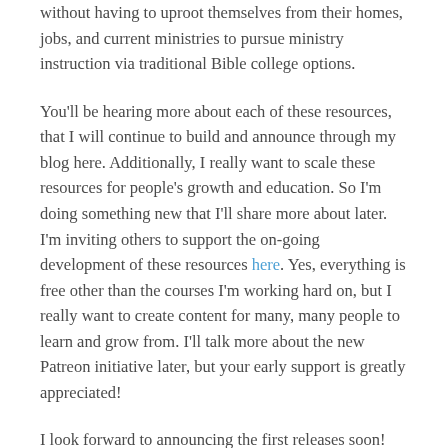without having to uproot themselves from their homes, jobs, and current ministries to pursue ministry instruction via traditional Bible college options.
You'll be hearing more about each of these resources, that I will continue to build and announce through my blog here. Additionally, I really want to scale these resources for people's growth and education. So I'm doing something new that I'll share more about later. I'm inviting others to support the on-going development of these resources here. Yes, everything is free other than the courses I'm working hard on, but I really want to create content for many, many people to learn and grow from. I'll talk more about the new Patreon initiative later, but your early support is greatly appreciated!
I look forward to announcing the first releases soon!